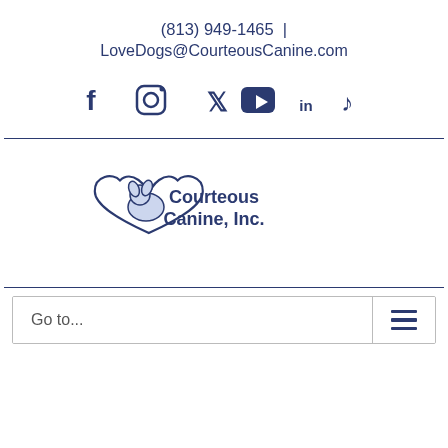(813) 949-1465 | LoveDogs@CourteousCanine.com
[Figure (infographic): Social media icons: Facebook, Instagram, Twitter, YouTube, LinkedIn, TikTok in dark navy blue]
[Figure (logo): Courteous Canine, Inc. logo — dark navy heart with dog silhouette and text 'Courteous Canine, Inc.']
Go to...